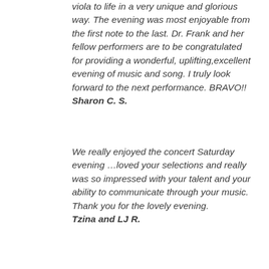viola to life in a very unique and glorious way. The evening was most enjoyable from the first note to the last. Dr. Frank and her fellow performers are to be congratulated for providing a wonderful, uplifting,excellent evening of music and song. I truly look forward to the next performance. BRAVO!! Sharon C. S.
We really enjoyed the concert Saturday evening …loved your selections and really was so impressed with your talent and your ability to communicate through your music. Thank you for the lovely evening. Tzina and LJ R.